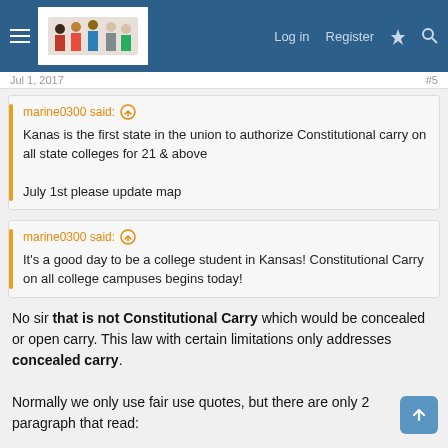Log in  Register
Jul 1, 2017
marine0300 said: ↑

Kanas is the first state in the union to authorize Constitutional carry on all state colleges for 21 & above

July 1st please update map
marine0300 said: ↑

It's a good day to be a college student in Kansas! Constitutional Carry on all college campuses begins today!
No sir that is not Constitutional Carry which would be concealed or open carry. This law with certain limitations only addresses concealed carry.

Normally we only use fair use quotes, but there are only 2 paragraph that read: